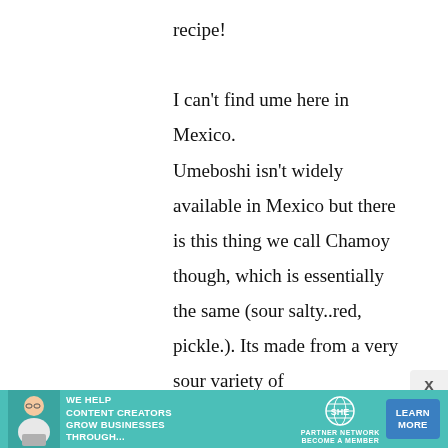recipe!

I can't find ume here in Mexico.
Umeboshi isn't widely available in Mexico but there is this thing we call Chamoy though, which is essentially the same (sour salty..red, pickle.). Its made from a very sour variety of
[Figure (infographic): Advertisement banner for SHE Media Partner Network. Text reads: 'WE HELP CONTENT CREATORS GROW BUSINESSES THROUGH...' with SHE logo and a 'LEARN MORE' button. Teal/turquoise background.]